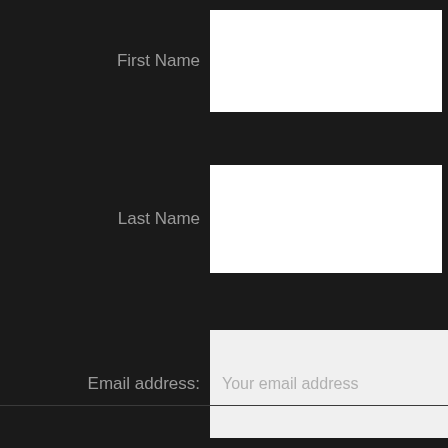First Name
Last Name
Email address:
Your email address
SIGN UP